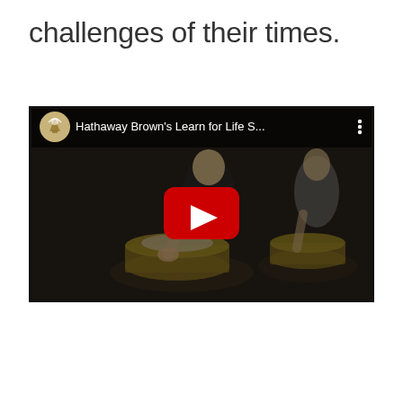challenges of their times.
[Figure (screenshot): YouTube video thumbnail showing students doing pottery, with YouTube player UI including channel avatar, title 'Hathaway Brown's Learn for Life S...', three-dot menu, and red play button overlay. Video is darkened/dimmed.]